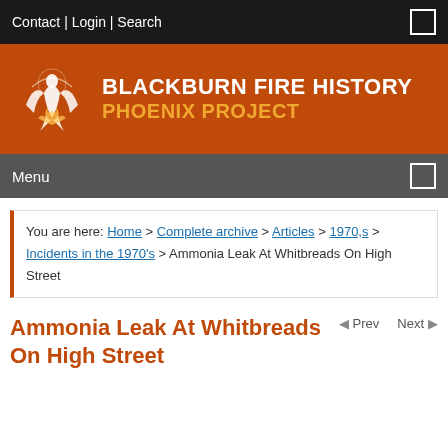Contact | Login | Search
[Figure (logo): Blackburn Fire History Phoenix Project banner with phoenix logo on orange/brown background. White text: BLACKBURN FIRE HISTORY, orange text: PHOENIX PROJECT]
Menu
You are here: Home > Complete archive > Articles > 1970,s > Incidents in the 1970's > Ammonia Leak At Whitbreads On High Street
Ammonia Leak At Whitbreads On High Street